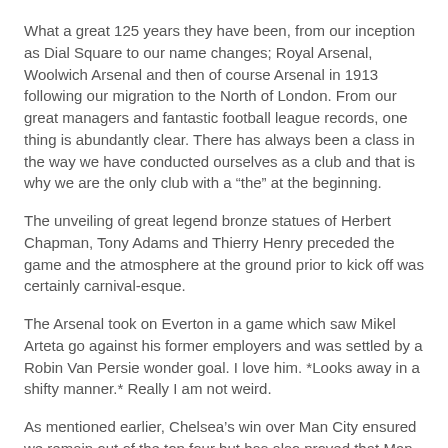What a great 125 years they have been, from our inception as Dial Square to our name changes; Royal Arsenal, Woolwich Arsenal and then of course Arsenal in 1913 following our migration to the North of London. From our great managers and fantastic football league records, one thing is abundantly clear. There has always been a class in the way we have conducted ourselves as a club and that is why we are the only club with a “the” at the beginning.
The unveiling of great legend bronze statues of Herbert Chapman, Tony Adams and Thierry Henry preceded the game and the atmosphere at the ground prior to kick off was certainly carnival-esque.
The Arsenal took on Everton in a game which saw Mikel Arteta go against his former employers and was settled by a Robin Van Persie wonder goal. I love him. *Looks away in a shifty manner.* Really I am not weird.
As mentioned earlier, Chelsea’s win over Man City ensured we remain out of the top four but has also proved that Man